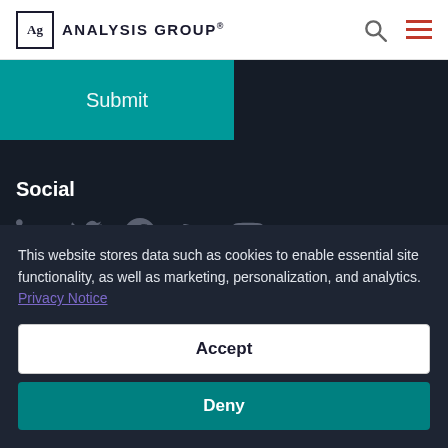Analysis Group
Submit
Social
[Figure (illustration): Social media icons: LinkedIn, Twitter, Facebook, RSS, YouTube]
Practices
This website stores data such as cookies to enable essential site functionality, as well as marketing, personalization, and analytics. Privacy Notice
Accept
Deny